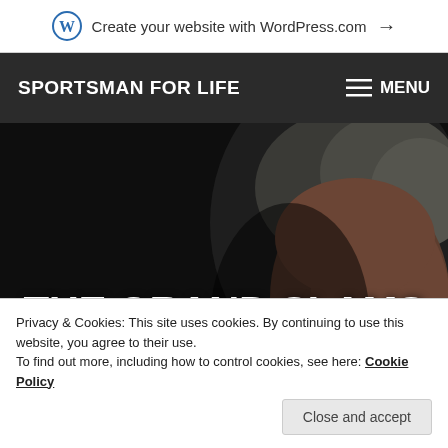Create your website with WordPress.com →
SPORTSMAN FOR LIFE
MENU
[Figure (photo): Dark hero image showing the top/side of a man's head with grey hair against a black background]
THE GRAND SLAMS AND
Privacy & Cookies: This site uses cookies. By continuing to use this website, you agree to their use.
To find out more, including how to control cookies, see here: Cookie Policy
Close and accept